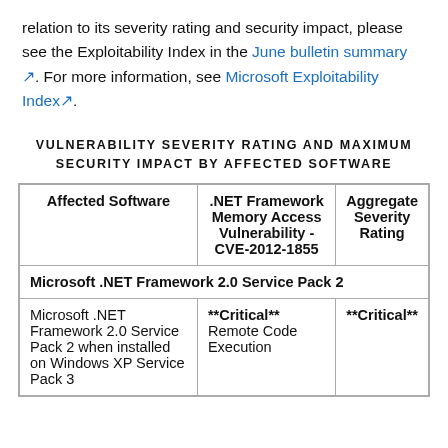relation to its severity rating and security impact, please see the Exploitability Index in the June bulletin summary. For more information, see Microsoft Exploitability Index.
VULNERABILITY SEVERITY RATING AND MAXIMUM SECURITY IMPACT BY AFFECTED SOFTWARE
| Affected Software | .NET Framework Memory Access Vulnerability - CVE-2012-1855 | Aggregate Severity Rating |
| --- | --- | --- |
| Microsoft .NET Framework 2.0 Service Pack 2 |  |  |
| Microsoft .NET Framework 2.0 Service Pack 2 when installed on Windows XP Service Pack 3 | **Critical** Remote Code Execution | **Critical** |